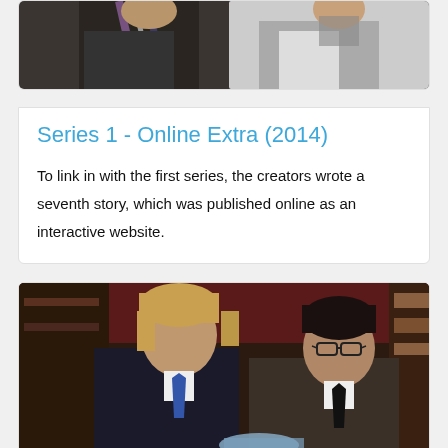[Figure (photo): Top portion of a photo showing two people, partially cropped at top of page]
Series 1 - Online Extra (2014)
To link in with the first series, the creators wrote a seventh story, which was published online as an interactive website.
[Figure (photo): Photo of two men in suits standing together, one with blond hair wearing a blue tie, one with dark hair wearing glasses and a black tie, in what appears to be a period train or venue setting]